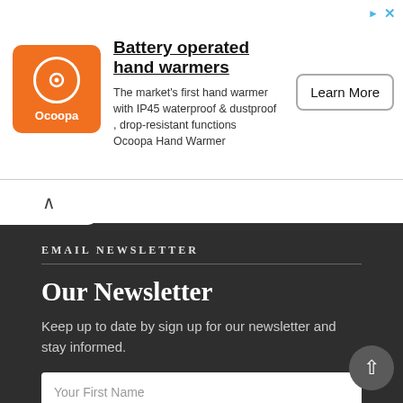[Figure (screenshot): Advertisement banner for Ocoopa battery operated hand warmers with orange logo, product description, and Learn More button]
EMAIL NEWSLETTER
Our Newsletter
Keep up to date by sign up for our newsletter and stay informed.
Your First Name
Your Email